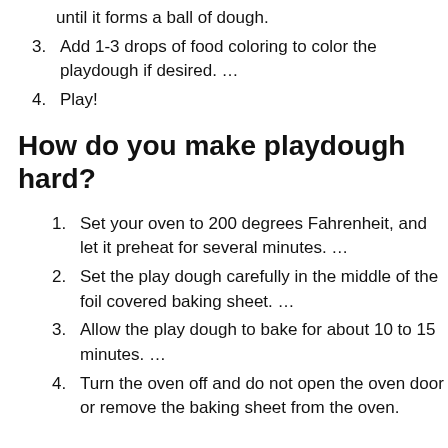until it forms a ball of dough.
3. Add 1-3 drops of food coloring to color the playdough if desired. …
4. Play!
How do you make playdough hard?
1. Set your oven to 200 degrees Fahrenheit, and let it preheat for several minutes. …
2. Set the play dough carefully in the middle of the foil covered baking sheet. …
3. Allow the play dough to bake for about 10 to 15 minutes. …
4. Turn the oven off and do not open the oven door or remove the baking sheet from the oven.